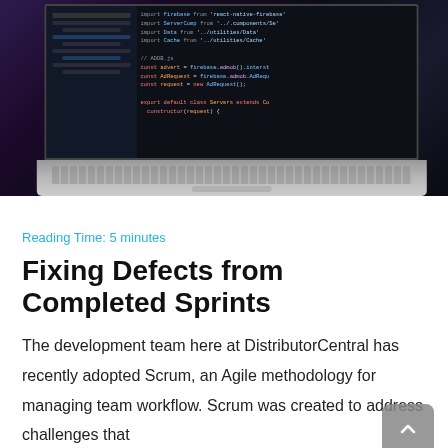[Figure (photo): A laptop computer open on a dark surface, displaying code on its screen with blue and syntax-highlighted code visible in the editor.]
Reading Time: 5 minutes
Fixing Defects from Completed Sprints
The development team here at DistributorCentral has recently adopted Scrum, an Agile methodology for managing team workflow. Scrum was created to address challenges that